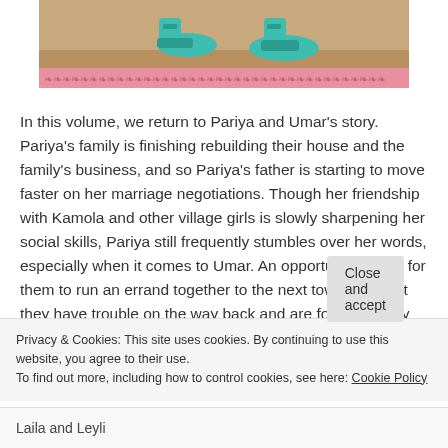[Figure (illustration): Top portion of a manga/comic book cover showing legs/feet in teal shoes standing on sandy ground, with a decorative pink floral border strip below]
In this volume, we return to Pariya and Umar's story. Pariya's family is finishing rebuilding their house and the family's business, and so Pariya's father is starting to move faster on her marriage negotiations. Though her friendship with Kamola and other village girls is slowly sharpening her social skills, Pariya still frequently stumbles over her words, especially when it comes to Umar. An opportunity arises for them to run an errand together to the next town over, but they have trouble on the way back and are forced to stay the night in a stranger's house. Though the reason is innocent enough, the fact that it happened may very well be enough
Privacy & Cookies: This site uses cookies. By continuing to use this website, you agree to their use.
To find out more, including how to control cookies, see here: Cookie Policy
Close and accept
Laila and Leyli